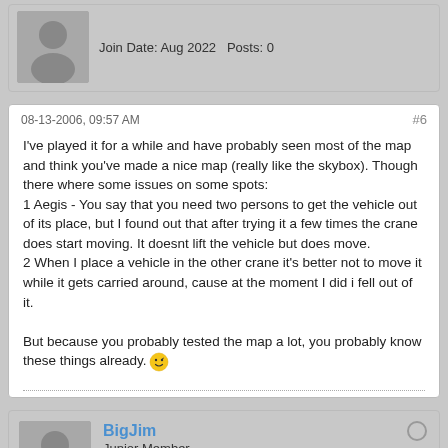Join Date: Aug 2022   Posts: 0
08-13-2006, 09:57 AM
#6
I've played it for a while and have probably seen most of the map and think you've made a nice map (really like the skybox). Though there where some issues on some spots:
1 Aegis - You say that you need two persons to get the vehicle out of its place, but I found out that after trying it a few times the crane does start moving. It doesnt lift the vehicle but does move.
2 When I place a vehicle in the other crane it's better not to move it while it gets carried around, cause at the moment I did i fell out of it.

But because you probably tested the map a lot, you probably know these things already.
BigJim
Junior Member
Join Date: Aug 2022   Posts: 0
08-13-2006, 11:26 AM
#7